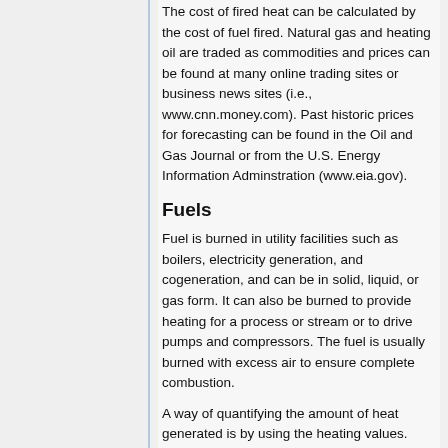The cost of fired heat can be calculated by the cost of fuel fired. Natural gas and heating oil are traded as commodities and prices can be found at many online trading sites or business news sites (i.e., www.cnn.money.com). Past historic prices for forecasting can be found in the Oil and Gas Journal or from the U.S. Energy Information Adminstration (www.eia.gov).
Fuels
Fuel is burned in utility facilities such as boilers, electricity generation, and cogeneration, and can be in solid, liquid, or gas form. It can also be burned to provide heating for a process or stream or to drive pumps and compressors. The fuel is usually burned with excess air to ensure complete combustion.
A way of quantifying the amount of heat generated is by using the heating values. Higher heating value (HHV) and the lower heating value (LHV) are used. The heating is the total heat released by combustion...